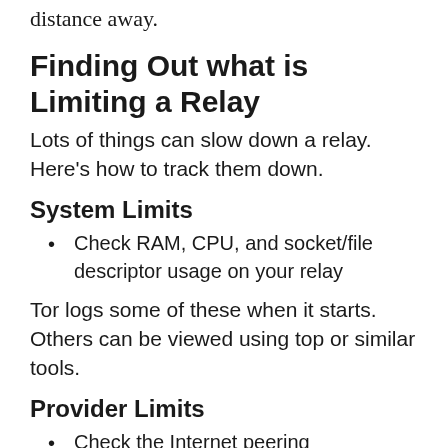distance away.
Finding Out what is Limiting a Relay
Lots of things can slow down a relay. Here's how to track them down.
System Limits
Check RAM, CPU, and socket/file descriptor usage on your relay
Tor logs some of these when it starts. Others can be viewed using top or similar tools.
Provider Limits
Check the Internet peering (bandwidth, latency) from your relay's provider to other relays. Relays transiting